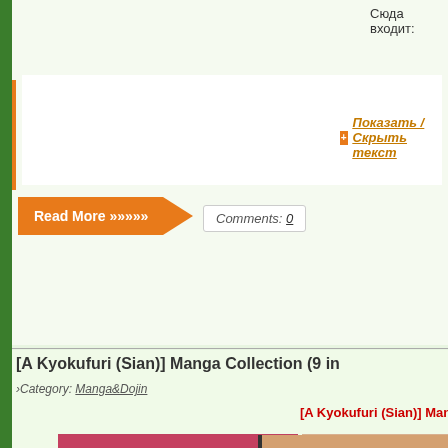Сюда входит:
+ Показать / Скрыть текст
Read More »»»»»    Comments: 0
[A Kyokufuri (Sian)] Manga Collection (9 in...
Category: Manga&Dojin
[A Kyokufuri (Sian)] Manga Collection
[Figure (illustration): Manga/anime style illustration showing two characters: left panel shows a silver-haired female character with Japanese text reading 飼い隊 and アンへ!!, right panel partially shows a dark-haired character with Japanese text マッ]